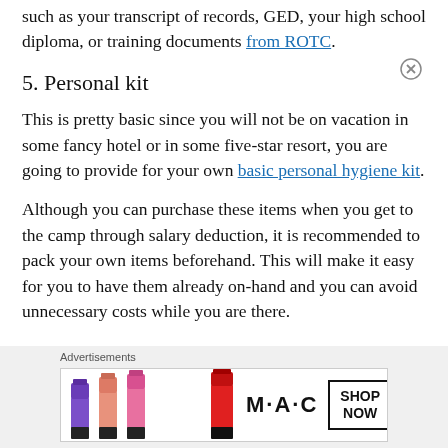such as your transcript of records, GED, your high school diploma, or training documents from ROTC.
5. Personal kit
This is pretty basic since you will not be on vacation in some fancy hotel or in some five-star resort, you are going to provide for your own basic personal hygiene kit.
Although you can purchase these items when you get to the camp through salary deduction, it is recommended to pack your own items beforehand. This will make it easy for you to have them already on-hand and you can avoid unnecessary costs while you are there.
[Figure (infographic): Advertisement banner featuring MAC cosmetics lipsticks with a 'SHOP NOW' button and close (X) button in top right corner. Label reads 'Advertisements'.]